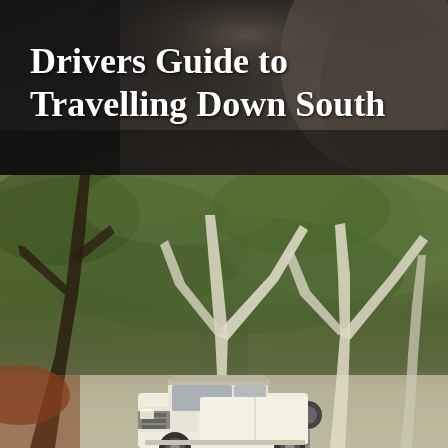Drivers Guide to Travelling Down South
[Figure (photo): Top portion: dark close-up photo with muted tones, possibly a car interior or person, serving as background for the title text overlay.]
[Figure (photo): Bottom portion: outdoor Australian outback photo showing white-barked gum trees (eucalyptus) with green foliage and a white 4WD vehicle (Toyota Land Cruiser style) parked beneath the trees. Red earth visible on left. Dusk/dawn lighting.]